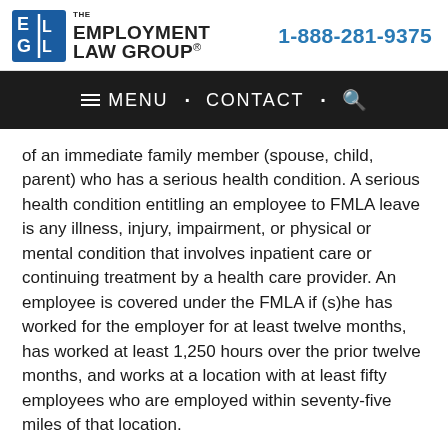[Figure (logo): The Employment Law Group logo with blue square icon and company name]
1-888-281-9375
MENU · CONTACT · 🔍
of an immediate family member (spouse, child, parent) who has a serious health condition. A serious health condition entitling an employee to FMLA leave is any illness, injury, impairment, or physical or mental condition that involves inpatient care or continuing treatment by a health care provider. An employee is covered under the FMLA if (s)he has worked for the employer for at least twelve months, has worked at least 1,250 hours over the prior twelve months, and works at a location with at least fifty employees who are employed within seventy-five miles of that location.